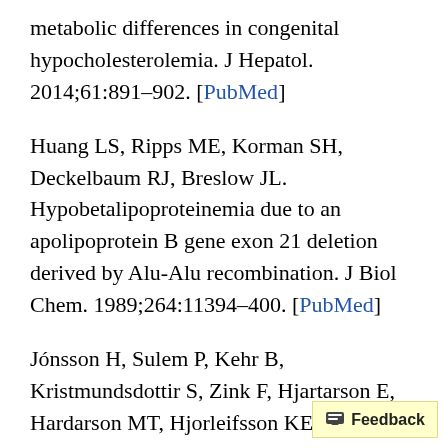metabolic differences in congenital hypocholesterolemia. J Hepatol. 2014;61:891–902. [PubMed]
Huang LS, Ripps ME, Korman SH, Deckelbaum RJ, Breslow JL. Hypobetalipoproteinemia due to an apolipoprotein B gene exon 21 deletion derived by Alu-Alu recombination. J Biol Chem. 1989;264:11394–400. [PubMed]
Jónsson H, Sulem P, Kehr B, Kristmundsdottir S, Zink F, Hjartarson E, Hardarson MT, Hjorleifsson KE, Eggertsson HP, Gudjonsson SA, Ward LD, Arnadottir GA, Helgason EA, Helgason H, Gylfason A, Jonasdottir A, Jonasdott...